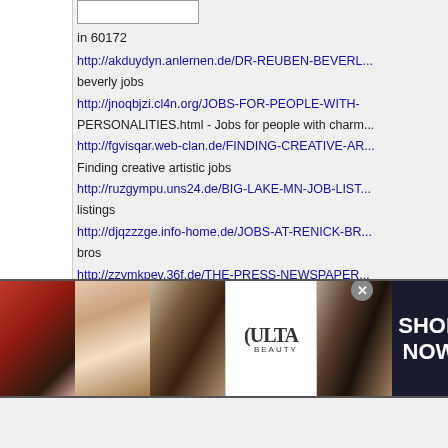in 60172
http://akduydyn.anlernen.de/DR-REUBEN-BEVERL...
beverly jobs
http://jnoqbjzi.cl4n.org/JOBS-FOR-PEOPLE-WITH-PERSONALITIES.html - Jobs for people with charm...
http://fgvisqar.web-clan.de/FINDING-CREATIVE-AR...
Finding creative artistic jobs
http://ruzgympu.uns24.de/BIG-LAKE-MN-JOB-LIST...
listings
http://djqzzzge.info-home.de/JOBS-AT-RENICK-BR...
bros
http://zzvmkpev.36f.de/THE-PRESS-NEWSPAPER...
The press newspaper job vacancies
http://ysihaxnp.crossed.de/ROOFING-JOB-NEEDE... FLORIDA.html - Roofing job needed clearwater flor...
http://ymplclda.basingen.de/GRAPHIC-ARTIS...
[Figure (advertisement): Ulta Beauty advertisement banner with makeup photos (lips, brush, eye), Ulta logo, and SHOP NOW call to action on dark background]